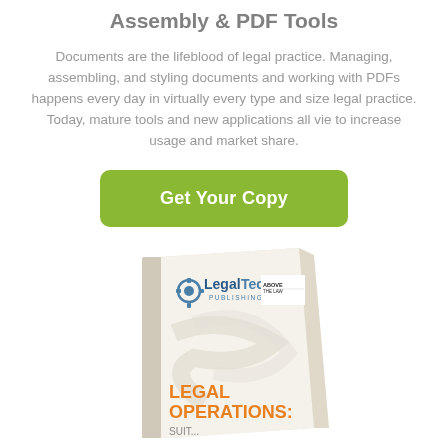Assembly & PDF Tools
Documents are the lifeblood of legal practice. Managing, assembling, and styling documents and working with PDFs happens every day in virtually every type and size legal practice. Today, mature tools and new applications all vie to increase usage and market share.
[Figure (other): Green rounded rectangle button with white bold text 'Get Your Copy']
[Figure (photo): Book cover image showing LegalTech Publishing logo with 'Above the Law' branding and text 'LEGAL OPERATIONS:' in orange on a white book]